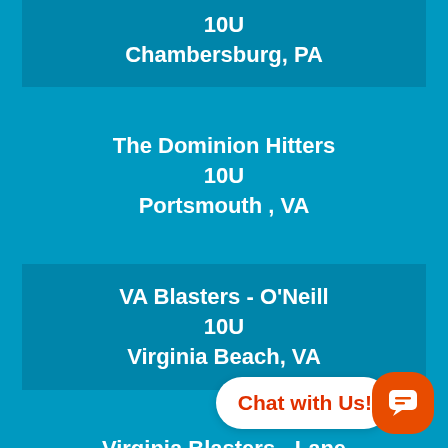10U
Chambersburg, PA
The Dominion Hitters
10U
Portsmouth , VA
VA Blasters - O'Neill
10U
Virginia Beach, VA
Virginia Blasters - Lane
10U
Virginia Bea...
[Figure (other): Chat with Us! widget button in bottom-right corner]